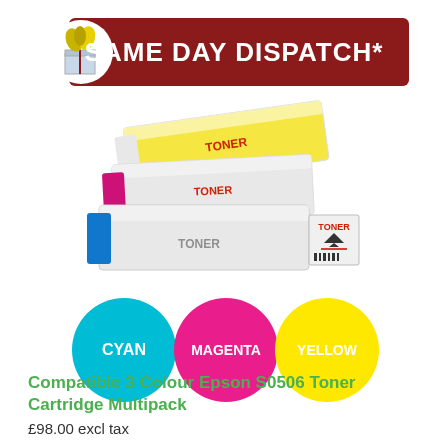[Figure (infographic): Same Day Dispatch* banner with logo featuring a gift box and plant, dark red/maroon background with white bold text]
[Figure (photo): Three toner cartridge boxes stacked diagonally - yellow, magenta/pink, and cyan/blue colored cartridges with TONER text on each]
[Figure (infographic): Three colored circles labeled CYAN (light blue), MAGENTA (pink/magenta), and YELLOW (yellow)]
Compatible 3 Colour Epson S0506 Toner Cartridge Multipack
£98.00 excl tax